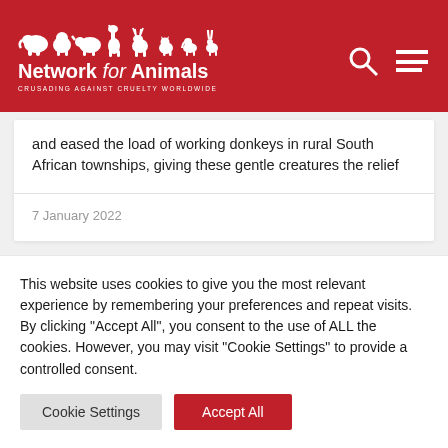Network for Animals — CRUSADING AGAINST CRUELTY WORLDWIDE
and eased the load of working donkeys in rural South African townships, giving these gentle creatures the relief
7 January 2022
This website uses cookies to give you the most relevant experience by remembering your preferences and repeat visits. By clicking "Accept All", you consent to the use of ALL the cookies. However, you may visit "Cookie Settings" to provide a controlled consent.